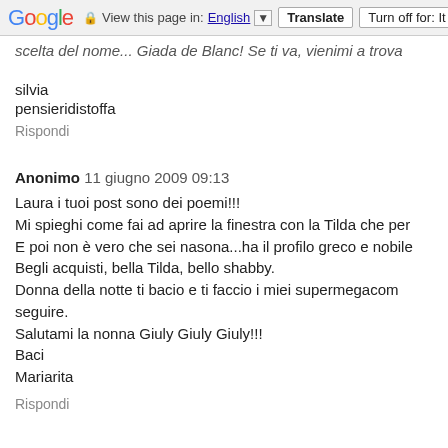Google  View this page in: English [▼]  Translate  Turn off for: It
scelta del nome... Giada de Blanc! Se ti va, vienimi a trova
silvia
pensieridistoffa
Rispondi
Anonimo  11 giugno 2009 09:13
Laura i tuoi post sono dei poemi!!!
Mi spieghi come fai ad aprire la finestra con la Tilda che per
E poi non è vero che sei nasona...ha il profilo greco e nobile
Begli acquisti, bella Tilda, bello shabby.
Donna della notte ti bacio e ti faccio i miei supermegacom seguire.
Salutami la nonna Giuly Giuly Giuly!!!
Baci
Mariarita
Rispondi